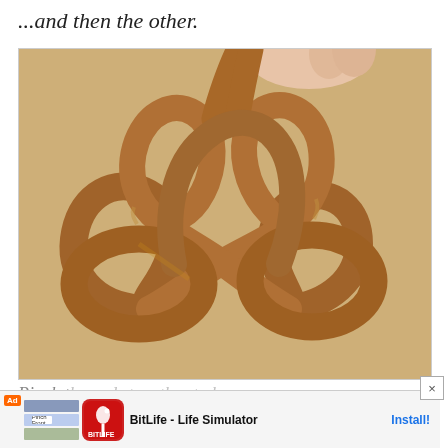...and then the other.
[Figure (photo): Close-up photo of a hand holding unbaked pretzel dough shaped into a pretzel knot on parchment paper. The dough is a golden/tan color and the pretzel shape with twisted loops is clearly visible.]
Pinch t... ave a basic C...
[Figure (screenshot): Advertisement overlay for BitLife - Life Simulator app. Shows ad badge, app screenshot thumbnails, BitLife logo (red icon with sperm/logo), app name 'BitLife - Life Simulator' and 'Install!' button. An X close button appears at upper right.]